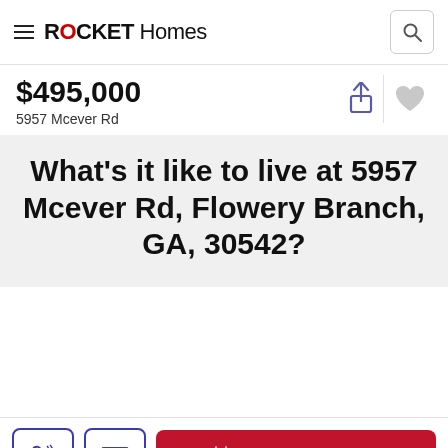ROCKET Homes
$495,000
5957 Mcever Rd
What's it like to live at 5957 Mcever Rd, Flowery Branch, GA, 30542?
Schedule A Tour